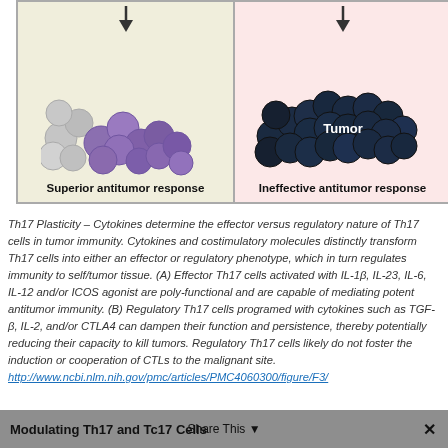[Figure (illustration): Two-panel scientific illustration. Left panel (cream background): purple/grey cell clusters representing 'Superior antitumor response'. Right panel (pink background): dark navy cell cluster labeled 'Tumor' representing 'Ineffective antitumor response'. Both panels show downward arrows above the cell clusters.]
Th17 Plasticity – Cytokines determine the effector versus regulatory nature of Th17 cells in tumor immunity. Cytokines and costimulatory molecules distinctly transform Th17 cells into either an effector or regulatory phenotype, which in turn regulates immunity to self/tumor tissue. (A) Effector Th17 cells activated with IL-1β, IL-23, IL-6, IL-12 and/or ICOS agonist are poly-functional and are capable of mediating potent antitumor immunity. (B) Regulatory Th17 cells programed with cytokines such as TGF-β, IL-2, and/or CTLA4 can dampen their function and persistence, thereby potentially reducing their capacity to kill tumors. Regulatory Th17 cells likely do not foster the induction or cooperation of CTLs to the malignant site. http://www.ncbi.nlm.nih.gov/pmc/articles/PMC4060300/figure/F3/
Modulating Th17 and Tc17 Cells   Share This   ✕